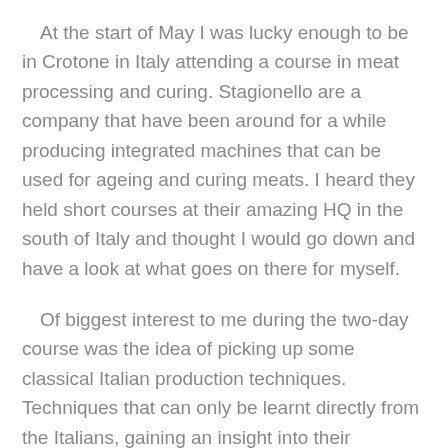At the start of May I was lucky enough to be in Crotone in Italy attending a course in meat processing and curing. Stagionello are a company that have been around for a while producing integrated machines that can be used for ageing and curing meats. I heard they held short courses at their amazing HQ in the south of Italy and thought I would go down and have a look at what goes on there for myself.
Of biggest interest to me during the two-day course was the idea of picking up some classical Italian production techniques. Techniques that can only be learnt directly from the Italians, gaining an insight into their tradition. As luck would have it this is exactly what I was shown. In the UK we typically use starter cultures in our charcuterie (meaning we use already harvested bacterial spores and inoculate them into the meat) this allows us to guarantee